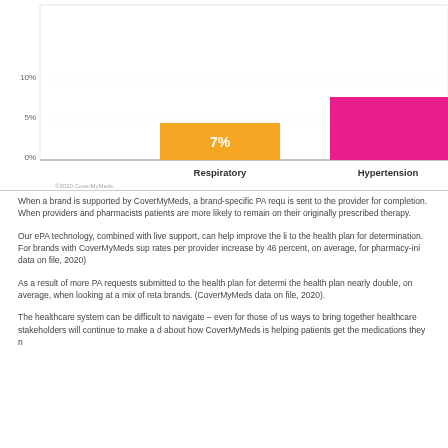[Figure (bar-chart): PA Approval Rates by Therapy Area]
When a brand is supported by CoverMyMeds, a brand-specific PA request is sent to the provider for completion. When providers and pharmacists patients are more likely to remain on their originally prescribed therapy.
Our ePA technology, combined with live support, can help improve the likelihood to the health plan for determination. For brands with CoverMyMeds support, rates per provider increase by 46 percent, on average, for pharmacy-initiated data on file, 2020)
As a result of more PA requests submitted to the health plan for determination, the health plan nearly double, on average, when looking at a mix of retail brands. (CoverMyMeds data on file, 2020).
The healthcare system can be difficult to navigate – even for those of us ways to bring together healthcare stakeholders will continue to make a difference about how CoverMyMeds is helping patients get the medications they need.